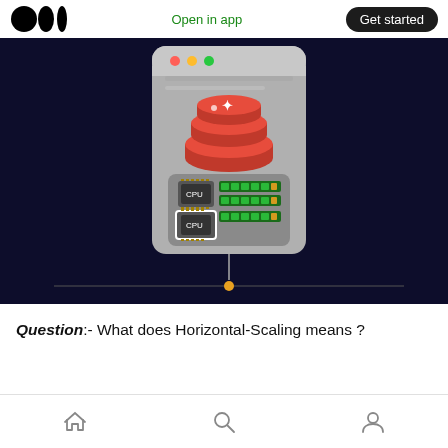Open in app   Get started
[Figure (illustration): Dark navy background showing a macOS-style window with a Redis logo (stacked orange/red discs with sparkle) above a server component panel containing two CPU chips labeled 'CPU' with green RAM sticks beside them. A vertical line with an orange dot connects downward to a horizontal timeline scrubber line.]
Question:- What does Horizontal-Scaling means ?
Home  Search  Profile